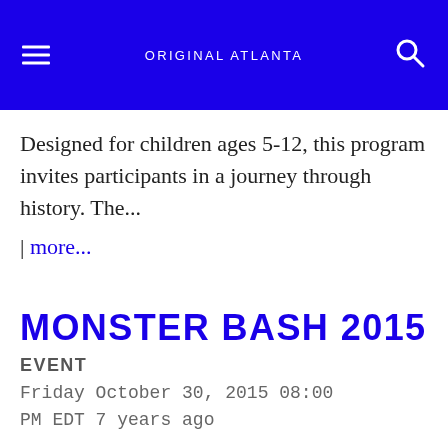ORIGINAL ATLANTA
Designed for children ages 5-12, this program invites participants in a journey through history. The...
| more...
MONSTER BASH 2015
EVENT
Friday October 30, 2015 08:00 PM EDT 7 years ago
Throw down to Latin and international